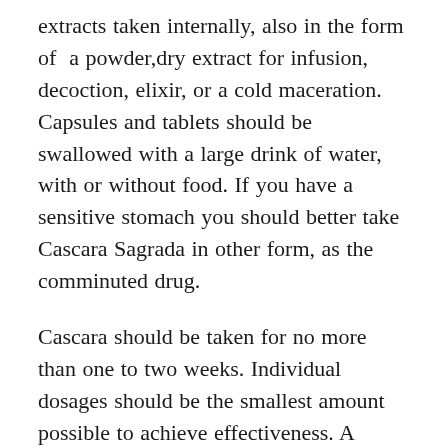extracts taken internally, also in the form of a powder,dry extract for infusion, decoction, elixir, or a cold maceration. Capsules and tablets should be swallowed with a large drink of water, with or without food. If you have a sensitive stomach you should better take Cascara Sagrada in other form, as the comminuted drug.
Cascara should be taken for no more than one to two weeks. Individual dosages should be the smallest amount possible to achieve effectiveness. A typical dosage of cascara is a 300 mg capsule taken in the early evening to stimulate a bowel movement in the morning (the laxative effect usually occurs 6 to 12 hours after cascara is taken). It is stored at room temperature between 15 and 30°C. The raw